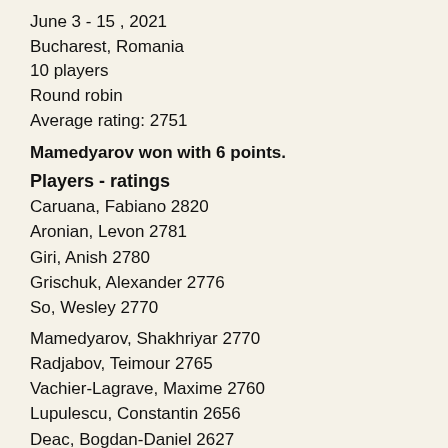June 3 - 15 , 2021
Bucharest, Romania
10 players
Round robin
Average rating: 2751
Mamedyarov won with 6 points.
Players - ratings
Caruana, Fabiano 2820
Aronian, Levon 2781
Giri, Anish 2780
Grischuk, Alexander 2776
So, Wesley 2770
Mamedyarov, Shakhriyar 2770
Radjabov, Teimour 2765
Vachier-Lagrave, Maxime 2760
Lupulescu, Constantin 2656
Deac, Bogdan-Daniel 2627
Back to Top ↑
Continue to read Games and results